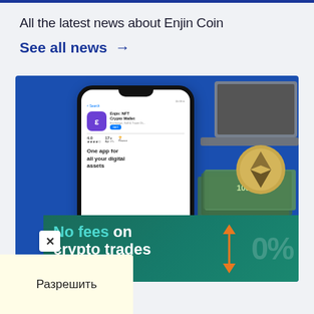All the latest news about Enjin Coin
See all news →
[Figure (photo): Hand holding a smartphone showing the Enjin NFT Crypto Wallet app page, with dollar bills and an Ethereum coin in the background on a blue surface. An ad banner overlay reads 'No fees on crypto trades 0%' with an orange Install Now button. A close (X) button and a yellow permission popup reading 'Разрешить' are visible.]